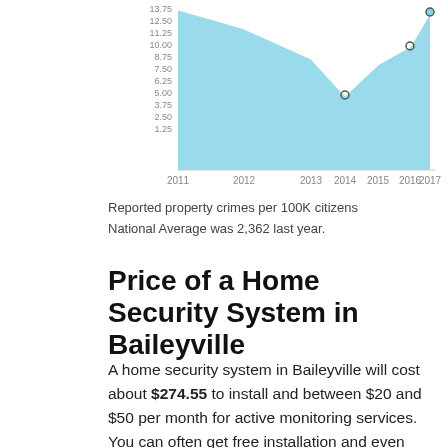[Figure (area-chart): Reported property crimes per 100K citizens]
Reported property crimes per 100K citizens
National Average was 2,362 last year.
Price of a Home Security System in Baileyville
A home security system in Baileyville will cost about $274.55 to install and between $20 and $50 per month for active monitoring services. You can often get free installation and even free equipment, too so be sure to check for those deals first. See the home security deals for Baileyville above for specific information on pricing that changes frequently.